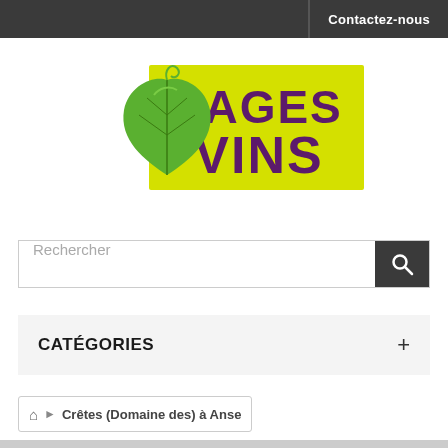Contactez-nous
[Figure (logo): Pages Vins logo with green grape leaf and yellow background with purple text PAGES VINS]
Rechercher
CATÉGORIES
Crêtes (Domaine des) à Anse